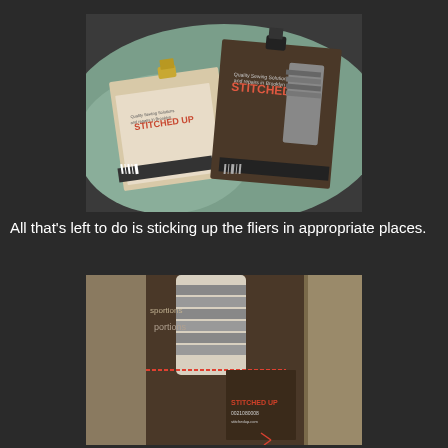[Figure (photo): Two 'Stitched Up' business card fliers clipped to clipboards, lying on a light green fabric surface. The fliers have a dark brown background with red 'STITCHED UP' text and barcode designs.]
All that's left to do is sticking up the fliers in appropriate places.
[Figure (photo): Close-up photo of a 'Stitched Up' flier pinned or attached to what appears to be clothing or fabric hanging on a rack. The flier shows barcode, striped fabric image, and 'STITCHED UP' branding.]